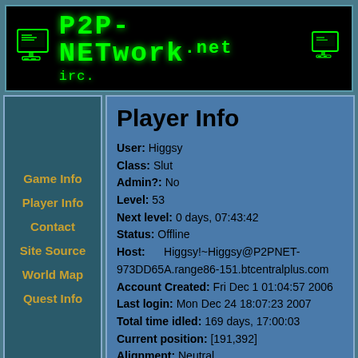[Figure (logo): P2P-NETwork.net IRC logo with green glowing text on black background and computer icons]
Game Info
Player Info
Contact
Site Source
World Map
Quest Info
Player Info
User: Higgsy
Class: Slut
Admin?: No
Level: 53
Next level: 0 days, 07:43:42
Status: Offline
Host: Higgsy!~Higgsy@P2PNET-973DD65A.range86-151.btcentralplus.com
Account Created: Fri Dec 1 01:04:57 2006
Last login: Mon Dec 24 18:07:23 2007
Total time idled: 169 days, 17:00:03
Current position: [191,392]
Alignment: Neutral